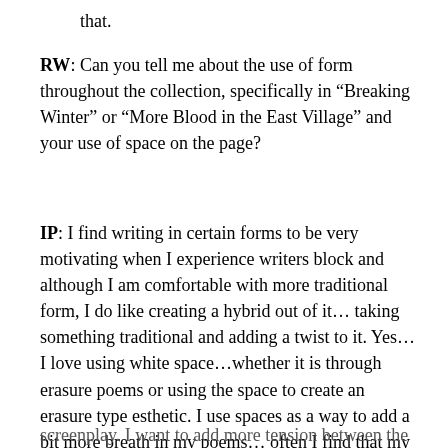that.
RW: Can you tell me about the use of form throughout the collection, specifically in “Breaking Winter” or “More Blood in the East Village” and your use of space on the page?
IP: I find writing in certain forms to be very motivating when I experience writers block and although I am comfortable with more traditional form, I do like creating a hybrid out of it… taking something traditional and adding a twist to it. Yes…I love using white space…whether it is through erasure poems or using the space to create an erasure type esthetic. I use spaces as a way to add a bit more breath in my poems… often I find that my work has some manic energy to it and I rush to get everything on the page. The use of white space in “Breaking Winter” or “More Blood in the East Village” acts almost like the beat cue in screenplay. I want to add more tension between the